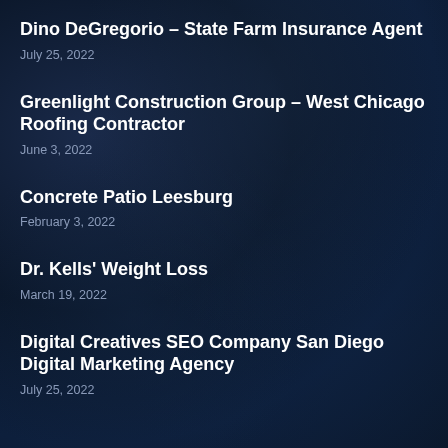Dino DeGregorio – State Farm Insurance Agent
July 25, 2022
Greenlight Construction Group – West Chicago Roofing Contractor
June 3, 2022
Concrete Patio Leesburg
February 3, 2022
Dr. Kells' Weight Loss
March 19, 2022
Digital Creatives SEO Company San Diego Digital Marketing Agency
July 25, 2022